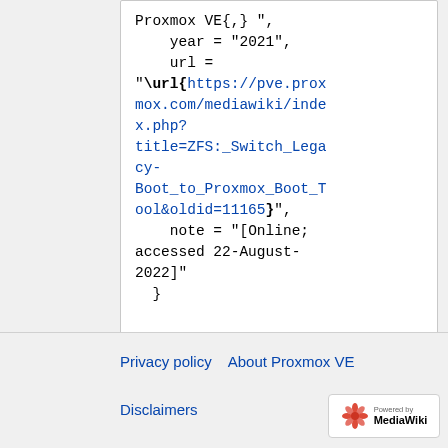Proxmox VE{,} ",
    year = "2021",
    url =
"\url{https://pve.proxmox.com/mediawiki/index.php?title=ZFS:_Switch_Legacy-Boot_to_Proxmox_Boot_Tool&oldid=11165}",
    note = "[Online; accessed 22-August-2022]"
  }
Privacy policy   About Proxmox VE   Disclaimers